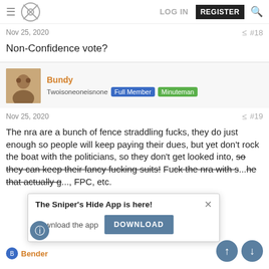Sniper's Hide forum navigation bar with LOG IN, REGISTER, search
Nov 25, 2020   #18
Non-Confidence vote?
Bundy
Twoisoneoneisnone  Full Member  Minuteman
Nov 25, 2020   #19
The nra are a bunch of fence straddling fucks, they do just enough so people will keep paying their dues, but yet don't rock the boat with the politicians, so they don't get looked into, so they can keep their fancy fucking suits! Fuck the nra with s... he that actually g... FPC, etc.
[Figure (screenshot): Popup overlay: 'The Sniper's Hide App is here!' with DOWNLOAD button and X close button. Info circle button and up/down scroll buttons visible.]
Bender